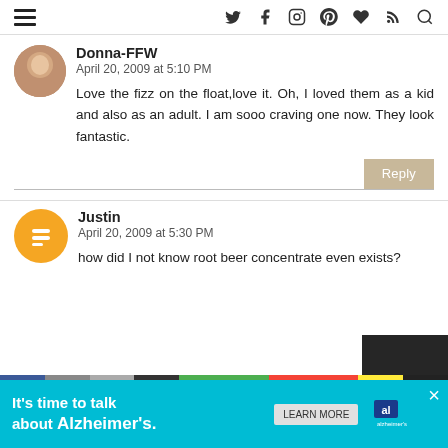Navigation bar with hamburger menu and social icons (Twitter, Facebook, Instagram, Pinterest, Heart, RSS, Search)
Donna-FFW
April 20, 2009 at 5:10 PM
Love the fizz on the float,love it. Oh, I loved them as a kid and also as an adult. I am sooo craving one now. They look fantastic.
Justin
April 20, 2009 at 5:30 PM
how did I not know root beer concentrate even exists?
It’s time to talk about Alzheimer’s.